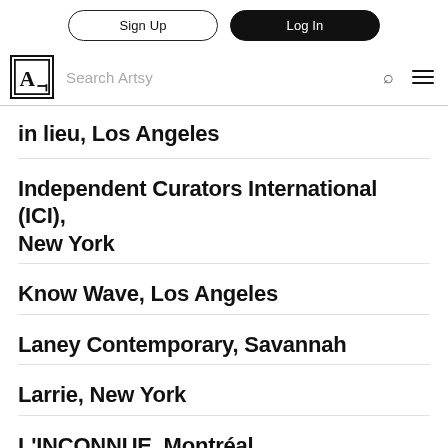Sign Up | Log In
Search Artsy
in lieu, Los Angeles
Independent Curators International (ICI), New York
Know Wave, Los Angeles
Laney Contemporary, Savannah
Larrie, New York
L'INCONNUE, Montréal